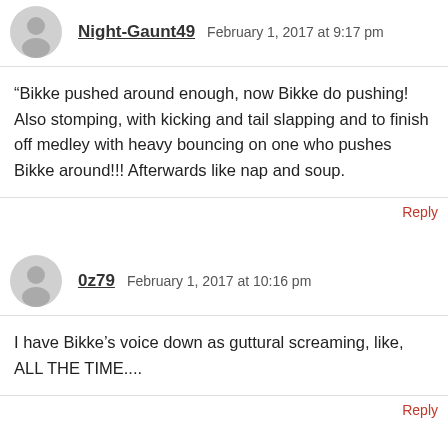Night-Gaunt49  February 1, 2017 at 9:17 pm
“Bikke pushed around enough, now Bikke do pushing! Also stomping, with kicking and tail slapping and to finish off medley with heavy bouncing on one who pushes Bikke around!!! Afterwards like nap and soup.
Reply
0z79  February 1, 2017 at 10:16 pm
I have Bikke’s voice down as guttural screaming, like, ALL THE TIME....
Reply